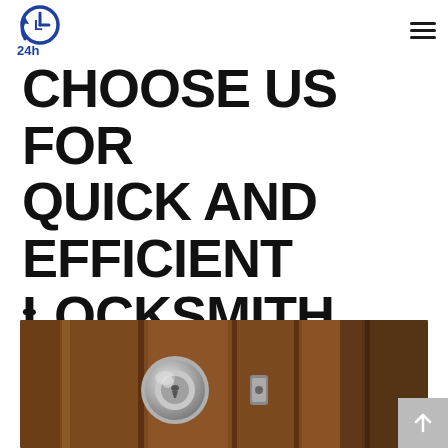24h Locksmith Logo and navigation
CHOOSE US FOR QUICK AND EFFICIENT LOCKSMITH SERVICES
[Figure (photo): A close-up photo of a metallic door knob/lock on a wooden door]